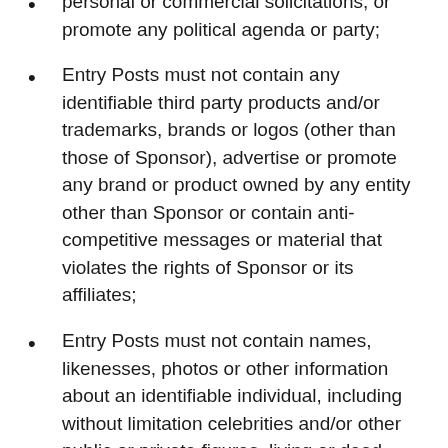Entry Posts must not contain advertisements, personal or commercial solicitations, or promote any political agenda or party;
Entry Posts must not contain any identifiable third party products and/or trademarks, brands or logos (other than those of Sponsor), advertise or promote any brand or product owned by any entity other than Sponsor or contain anti-competitive messages or material that violates the rights of Sponsor or its affiliates;
Entry Posts must not contain names, likenesses, photos or other information about an identifiable individual, including without limitation celebrities and/or other public or private figures, living or dead, without express written permission from the person(s) (or their estate);
Entry Posts must be in keeping with